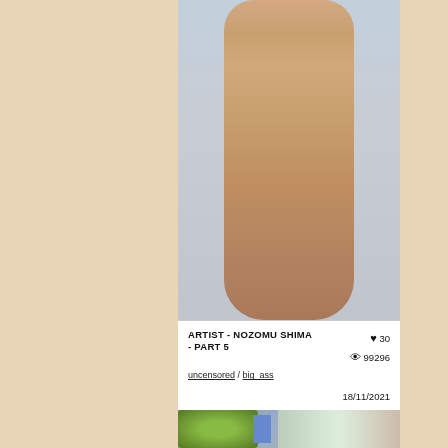[Figure (illustration): 3D rendered CG illustration of a nude female figure from torso to upper thighs, front view, against a light blue-grey background. The figure has skin-toned coloring typical of 3D art.]
ARTIST - NOZOMU SHIMA - PART 5
♥ 30
👁 99296
uncensored / big_ass
18/11/2021
[Figure (illustration): Partial view of a second 3D rendered CG illustration showing a figure in green clothing near blue/metallic objects, at the bottom of the page.]